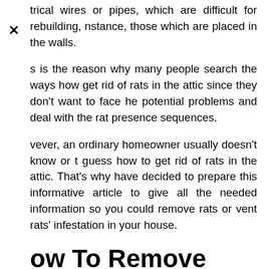trical wires or pipes, which are difficult for rebuilding, nstance, those which are placed in the walls.
s is the reason why many people search the ways how get rid of rats in the attic since they don't want to face he potential problems and deal with the rat presence sequences.
vever, an ordinary homeowner usually doesn't know or t guess how to get rid of rats in the attic. That's why have decided to prepare this informative article to give all the needed information so you could remove rats or vent rats' infestation in your house.
ow To Remove Rats rom Your House
can't claim that we offer the best way to get rid of rats he attic, but we can assure you that this procedure has